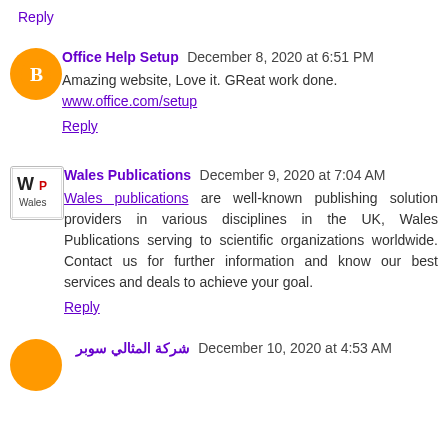Reply
Office Help Setup  December 8, 2020 at 6:51 PM
Amazing website, Love it. GReat work done. www.office.com/setup
Reply
Wales Publications  December 9, 2020 at 7:04 AM
Wales publications are well-known publishing solution providers in various disciplines in the UK, Wales Publications serving to scientific organizations worldwide. Contact us for further information and know our best services and deals to achieve your goal.
Reply
شركة المثالي سوبر  December 10, 2020 at 4:53 AM